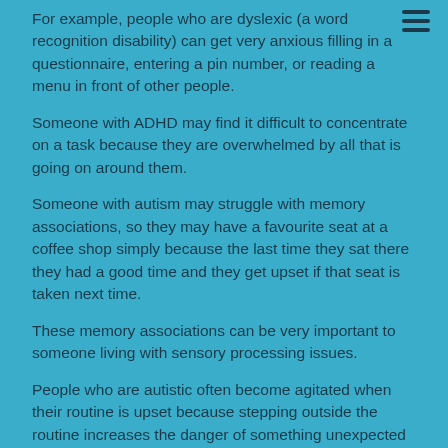[Figure (other): Hamburger menu icon (three horizontal lines) in top-right corner]
For example, people who are dyslexic (a word recognition disability) can get very anxious filling in a questionnaire, entering a pin number, or reading a menu in front of other people.
Someone with ADHD may find it difficult to concentrate on a task because they are overwhelmed by all that is going on around them.
Someone with autism may struggle with memory associations, so they may have a favourite seat at a coffee shop simply because the last time they sat there they had a good time and they get upset if that seat is taken next time.
These memory associations can be very important to someone living with sensory processing issues.
People who are autistic often become agitated when their routine is upset because stepping outside the routine increases the danger of something unexpected intruding on how their memory has lead them to believe the experience should unfold.
Something that is pleasurable or neutral to one person may be highly irritable to another, or something that irritates them both...